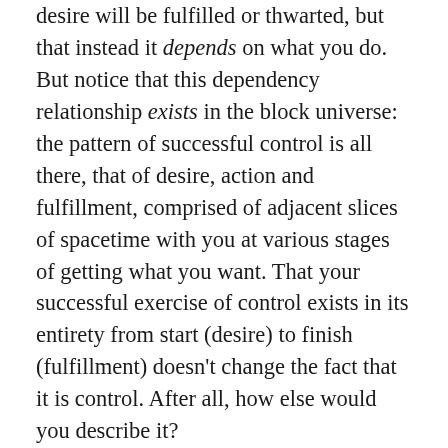desire will be fulfilled or thwarted, but that instead it depends on what you do. But notice that this dependency relationship exists in the block universe: the pattern of successful control is all there, that of desire, action and fulfillment, comprised of adjacent slices of spacetime with you at various stages of getting what you want. That your successful exercise of control exists in its entirety from start (desire) to finish (fulfillment) doesn't change the fact that it is control. After all, how else would you describe it?
The pitfall of ultimate control